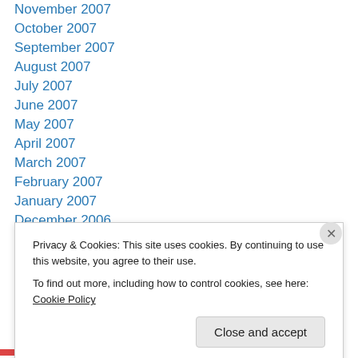November 2007
October 2007
September 2007
August 2007
July 2007
June 2007
May 2007
April 2007
March 2007
February 2007
January 2007
December 2006
November 2006
October 2006
Privacy & Cookies: This site uses cookies. By continuing to use this website, you agree to their use.
To find out more, including how to control cookies, see here: Cookie Policy